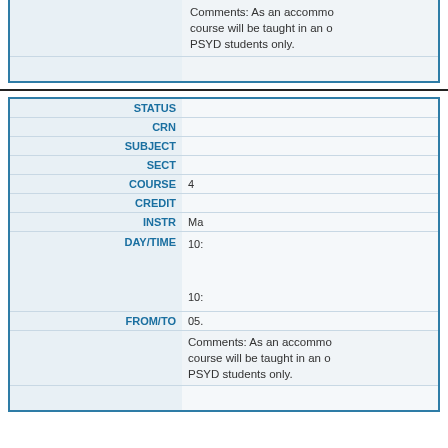| Field | Value |
| --- | --- |
|  | Comments: As an accommo... course will be taught in an o... PSYD students only. |
|  |  |
| STATUS |  |
| CRN |  |
| SUBJECT |  |
| SECT |  |
| COURSE | 4... |
| CREDIT |  |
| INSTR | Ma... |
| DAY/TIME | 10:...  10:... |
| FROM/TO | 05.... |
|  | Comments: As an accommo... course will be taught in an o... PSYD students only. |
|  |  |